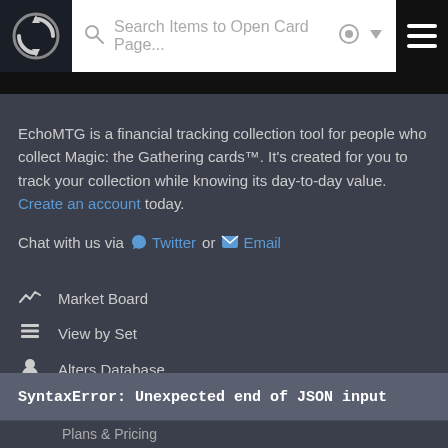Search Items to Open Card Page...
EchoMTG is a financial tracking collection tool for people who collect Magic: the Gathering cards™. It's created for you to track your collection while knowing its day-to-day value. Create an account today.
Chat with us via Twitter or Email
Market Board
View by Set
Alters Database
My Collection
My Profile
SyntaxError: Unexpected end of JSON input
Plans & Pricing